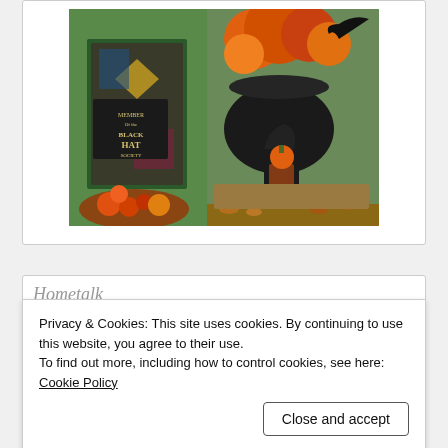[Figure (photo): Halloween-themed storefront decoration photo showing orange flowers, black witch boots, pumpkins, and a 'Member of the Black Hat Society' sign]
Hometalk
Privacy & Cookies: This site uses cookies. By continuing to use this website, you agree to their use.
To find out more, including how to control cookies, see here:
Cookie Policy
Close and accept
[Figure (photo): Partial bottom image strip showing black and white imagery]